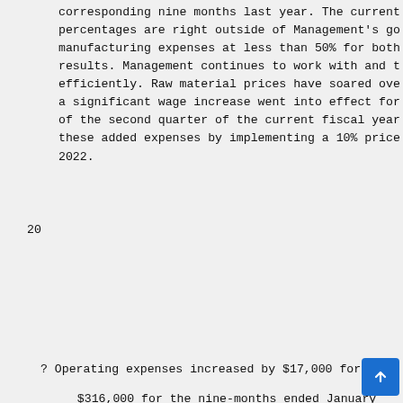corresponding nine months last year. The current percentages are right outside of Management's goal of manufacturing expenses at less than 50% for both results. Management continues to work with and to operate efficiently. Raw material prices have soared over the year and a significant wage increase went into effect for the start of the second quarter of the current fiscal year. To combat these added expenses by implementing a 10% price increase in 2022.
20
? Operating expenses increased by $17,000 for the and $316,000 for the nine-months ended January corresponding periods last year. When compared